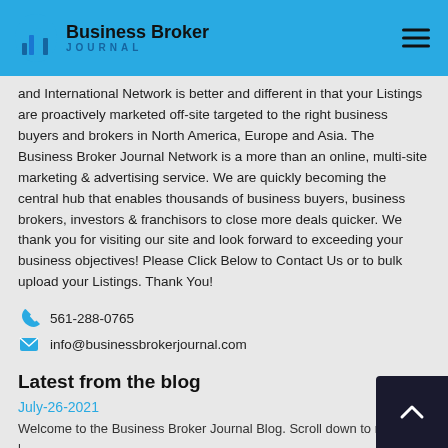Business Broker Journal
and International Network is better and different in that your Listings are proactively marketed off-site targeted to the right business buyers and brokers in North America, Europe and Asia. The Business Broker Journal Network is a more than an online, multi-site marketing & advertising service. We are quickly becoming the central hub that enables thousands of business buyers, business brokers, investors & franchisors to close more deals quicker. We thank you for visiting our site and look forward to exceeding your business objectives! Please Click Below to Contact Us or to bulk upload your Listings. Thank You!
561-288-0765
info@businessbrokerjournal.com
Latest from the blog
July-26-2021
Welcome to the Business Broker Journal Blog. Scroll down to re l...